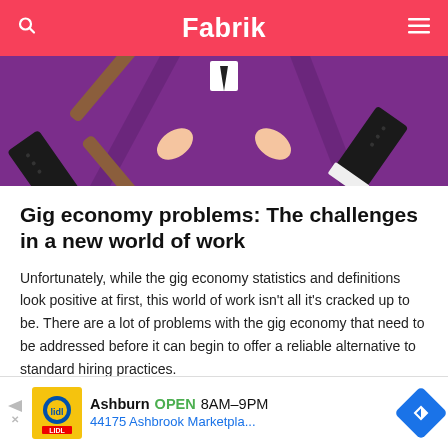Fabrik
[Figure (illustration): Illustration on purple background showing two hands in business suit sleeves holding bamboo sticks in an X shape, suggesting conflict or challenge]
Gig economy problems: The challenges in a new world of work
Unfortunately, while the gig economy statistics and definitions look positive at first, this world of work isn't all it's cracked up to be. There are a lot of problems with the gig economy that need to be addressed before it can begin to offer a reliable alternative to standard hiring practices.
[Figure (other): Advertisement banner: Lidl store icon, Ashburn OPEN 8AM–9PM, 44175 Ashbrook Marketpla..., navigation arrow icon]